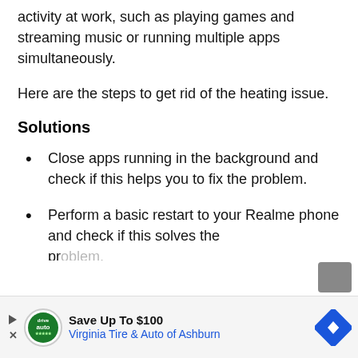activity at work, such as playing games and streaming music or running multiple apps simultaneously.
Here are the steps to get rid of the heating issue.
Solutions
Close apps running in the background and check if this helps you to fix the problem.
Perform a basic restart to your Realme phone and check if this solves the problem.
[Figure (infographic): Advertisement banner: Save Up To $100 Virginia Tire & Auto of Ashburn with logo and directional diamond icon]